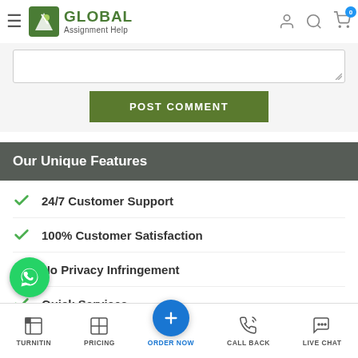[Figure (logo): Global Assignment Help logo with hamburger menu, user icon, search icon, and cart icon with badge 0]
[Figure (screenshot): Text area input field with resize handle]
POST COMMENT
Our Unique Features
24/7 Customer Support
100% Customer Satisfaction
No Privacy Infringement
Quick Services
Subject Experts
TURNITIN   PRICING   ORDER NOW   CALL BACK   LIVE CHAT